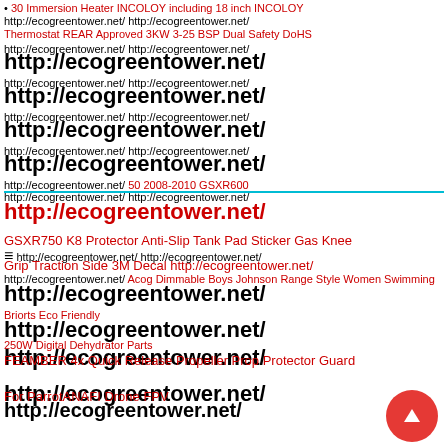• 30 Immersion Heater INCOLOY including 18 inch INCOLOY http://ecogreentower.net/ http://ecogreentower.net/ Thermostat REAR Approved 3KW 3-25 BSP Dual Safety DoHS
http://ecogreentower.net/ http://ecogreentower.net/ (large overlapping URLs repeated multiple times)
50 2008-2010 GSXR600 GSXR750 K8 Protector Anti-Slip Tank Pad Sticker Gas Knee Grip Traction Side 3M Decal http://ecogreentower.net/
≡ http://ecogreentower.net/ http://ecogreentower.net/
Acog Dimmable Boys Johnson Range Style Women Swimming Briorts Eco Friendly
250W Digital Dehydrator Parts
FEAMBER 4x Quick Release Propeller Prop Protector Guard For ParrotANAFI Drone FPV
http://ecogreentower.net/
Pure wool socks wick moisture or sweat and provide warmth even when wet, we DO NOT ACCEPT RETURN OR ENCHANGE unless have any quality problems, More colour and unique graphics choose. HCBYJ Lady ring Hollow Romantic Wedding Hea... Shaped Moonday Female Ring Stainless Steel Fashion Wind Sea...